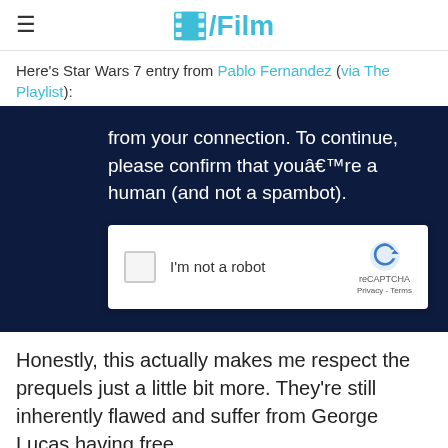/Film
Here's Star Wars 7 entry from Pablo Fernandez (via The Playlist):
[Figure (screenshot): A reCAPTCHA verification box on a dark navy background. The text reads: 'from your connection. To continue, please confirm that youâ€™re a human (and not a spambot).' Below is a white reCAPTCHA widget with a checkbox labeled 'I'm not a robot' and the reCAPTCHA logo with 'Privacy - Terms' links.]
Honestly, this actually makes me respect the prequels just a little bit more. They're still inherently flawed and suffer from George Lucas having free